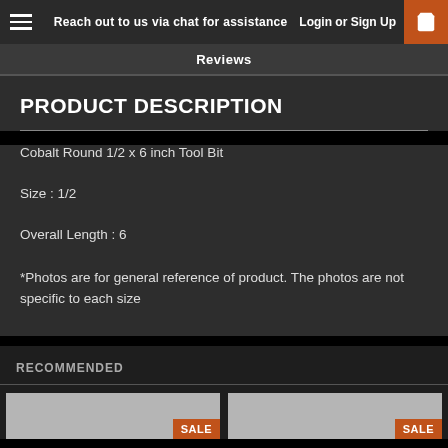Reach out to us via chat for assistance  Login or Sign Up
Reviews
PRODUCT DESCRIPTION
Cobalt Round 1/2 x 6 inch Tool Bit
Size : 1/2
Overall Length : 6
*Photos are for general reference of product. The photos are not specific to each size
RECOMMENDED
SALE
SALE